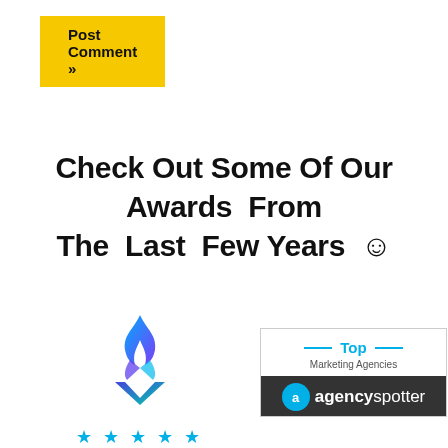Post Comment »
Check Out Some Of Our Awards From The Last Few Years ☺
[Figure (logo): Best Ecommerce award logo with flame and chevron design, 5 blue stars, text BEST ECOMMERCE]
[Figure (logo): Agency Spotter Top Marketing Agencies badge with blue horizontal lines and dark footer bar]